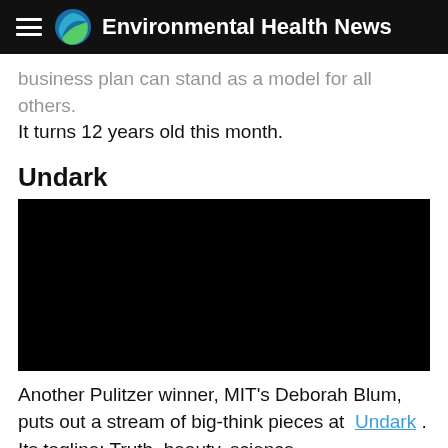Environmental Health News
business plan can stand as a model for all others. It turns 12 years old this month.
Undark
[Figure (photo): Black rectangular image placeholder for Undark section]
Another Pulitzer winner, MIT's Deborah Blum, puts out a stream of big-think pieces at Undark . Its tagline: Truth, beauty, science.